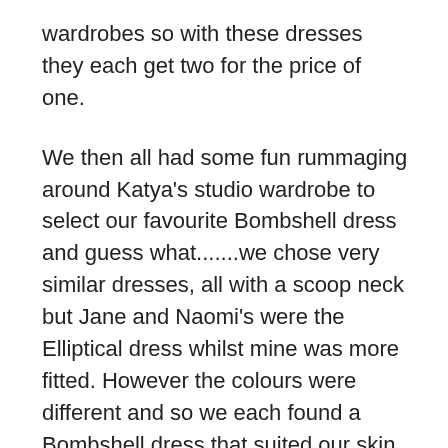wardrobes so with these dresses they each get two for the price of one.
We then all had some fun rummaging around Katya's studio wardrobe to select our favourite Bombshell dress and guess what.......we chose very similar dresses, all with a scoop neck but Jane and Naomi's were the Elliptical dress whilst mine was more fitted. However the colours were different and so we each found a Bombshell dress that suited our skin tone so perfectly.
Have a watch of the video which will show you how Katya dressed us and why the Bombshell dress works for every woman. I can promise you that we are all a lot more lumpy and bumpy than the pictures show but